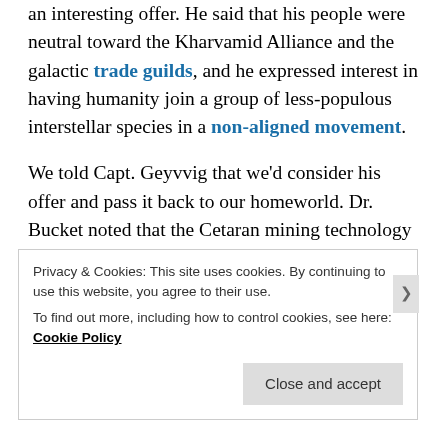an interesting offer. He said that his people were neutral toward the Kharvamid Alliance and the galactic trade guilds, and he expressed interest in having humanity join a group of less-populous interstellar species in a non-aligned movement.
We told Capt. Geyvvig that we'd consider his offer and pass it back to our homeworld. Dr. Bucket noted that the Cetaran mining technology could be helpful in getting resources for Terrans from Tyche, which we partly owned. Tela, Aughest-vor, and Scoop were most interested in making new friends.
Privacy & Cookies: This site uses cookies. By continuing to use this website, you agree to their use.
To find out more, including how to control cookies, see here: Cookie Policy
Close and accept